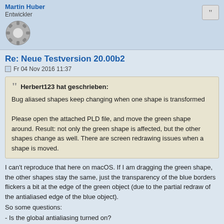Martin Huber
Entwickler
Re: Neue Testversion 20.00b2
Fr 04 Nov 2016 11:37
Herbert123 hat geschrieben:
Bug aliased shapes keep changing when one shape is transformed

Please open the attached PLD file, and move the green shape around. Result: not only the green shape is affected, but the other shapes change as well. There are screen redrawing issues when a shape is moved.
I can't reproduce that here on macOS. If I am dragging the green shape, the other shapes stay the same, just the transparency of the blue borders flickers a bit at the edge of the green object (due to the partial redraw of the antialiased edge of the blue object).
So some questions:
- Is the global antialiasing turned on?
- What is the zoom factor of the document?
- If the document is zoomed in: Is Pixel Mode activated?
Herbert123 hat geschrieben: